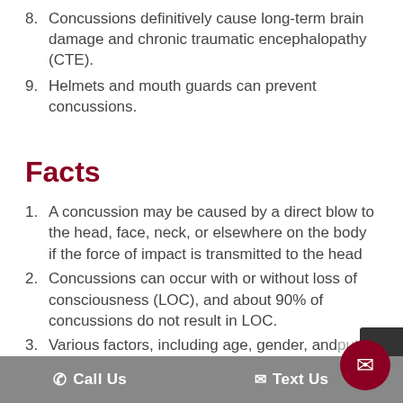8. Concussions definitively cause long-term brain damage and chronic traumatic encephalopathy (CTE).
9. Helmets and mouth guards can prevent concussions.
Facts
1. A concussion may be caused by a direct blow to the head, face, neck, or elsewhere on the body if the force of impact is transmitted to the head
2. Concussions can occur with or without loss of consciousness (LOC), and about 90% of concussions do not result in LOC.
3. Various factors, including age, gender, and put...isk for...ncu...